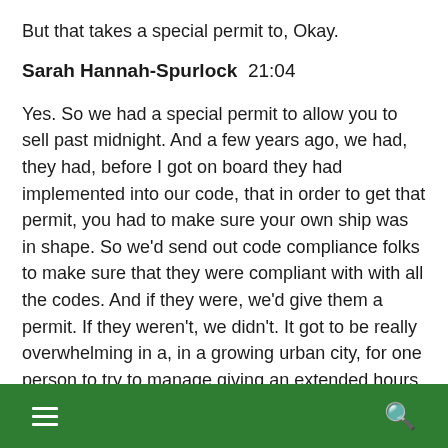But that takes a special permit to, Okay.
Sarah Hannah-Spurlock  21:04
Yes. So we had a special permit to allow you to sell past midnight. And a few years ago, we had, they had, before I got on board they had implemented into our code, that in order to get that permit, you had to make sure your own ship was in shape. So we'd send out code compliance folks to make sure that they were compliant with with all the codes. And if they were, we'd give them a permit. If they weren't, we didn't. It got to be really overwhelming in a, in a growing urban city, for one person to try to manage giving an extended hours permit. We probably just needed to let them serve past midnight. I mean, no, no permit. You can't have the guy
☰  🔍